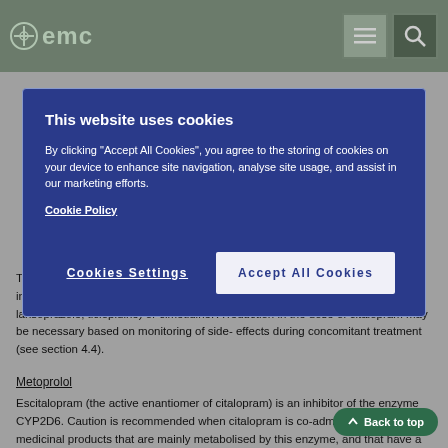emc
This website uses cookies

By clicking "Accept All Cookies", you agree to the storing of cookies on your device to enhance site navigation, analyse site usage, and assist in our marketing efforts.
Cookie Policy

Cookies Settings    Accept All Cookies
Thus, caution should be exercised when used concomitantly with CYP2C19 inhibitors (e.g. omeprazole, esomeprazole, fluconazole, fluvoxamine, lansoprazole, ticlopidine) or cimetidine. A reduction in the dose of citalopram may be necessary based on monitoring of side- effects during concomitant treatment (see section 4.4).
Metoprolol
Escitalopram (the active enantiomer of citalopram) is an inhibitor of the enzyme CYP2D6. Caution is recommended when citalopram is co-administered with medicinal products that are mainly metabolised by this enzyme, and that have a narrow therapeutic index, e.g. flec... propafenone and metoprolol (when used in cardiac failure), or some CNS